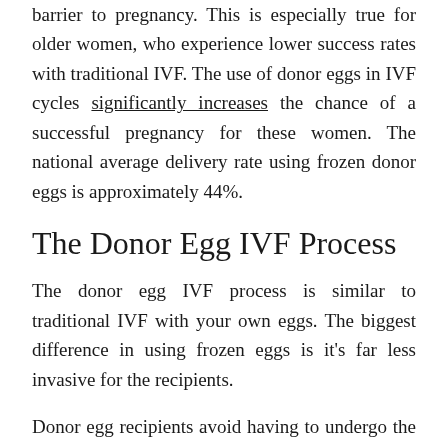barrier to pregnancy. This is especially true for older women, who experience lower success rates with traditional IVF. The use of donor eggs in IVF cycles significantly increases the chance of a successful pregnancy for these women. The national average delivery rate using frozen donor eggs is approximately 44%.
The Donor Egg IVF Process
The donor egg IVF process is similar to traditional IVF with your own eggs. The biggest difference in using frozen eggs is it's far less invasive for the recipients.
Donor egg recipients avoid having to undergo the stimulation and egg retrieval process all...